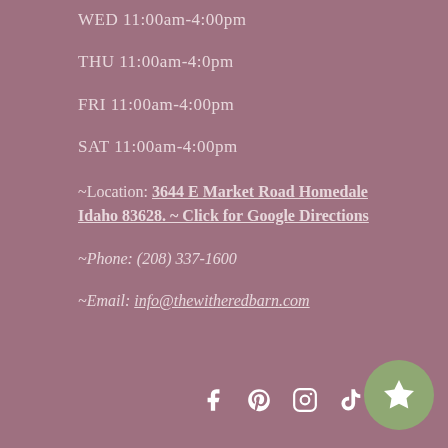WED 11:00am-4:00pm
THU 11:00am-4:0pm
FRI 11:00am-4:00pm
SAT 11:00am-4:00pm
~Location: 3644 E Market Road Homedale Idaho 83628. ~ Click for Google Directions
~Phone: (208) 337-1600
~Email: info@thewitheredbarn.com
[Figure (infographic): Social media icons row: Facebook, Pinterest, Instagram, TikTok, YouTube, and a green circle with a star icon at bottom of page]